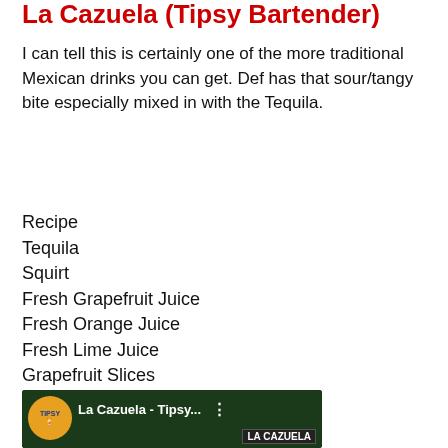La Cazuela (Tipsy Bartender)
I can tell this is certainly one of the more traditional Mexican drinks you can get. Def has that sour/tangy bite especially mixed in with the Tequila.
Recipe
Tequila
Squirt
Fresh Grapefruit Juice
Fresh Orange Juice
Fresh Lime Juice
Grapefruit Slices
Orange Slices
Lime Slices
Salt
Tajin
[Figure (screenshot): Video thumbnail for 'La Cazuela - Tipsy...' showing a Tipsy Bartender logo circle on left, title text in white, and 'LA CAZUELA' label at bottom right, on a dark green background.]